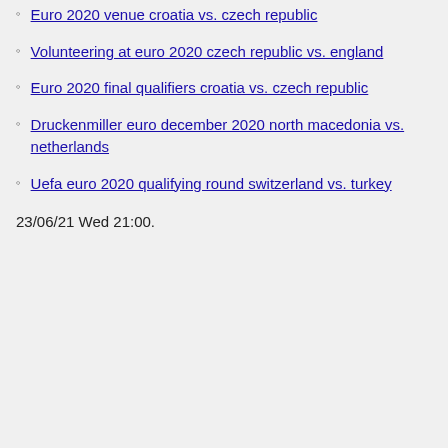Euro 2020 venue croatia vs. czech republic
Volunteering at euro 2020 czech republic vs. england
Euro 2020 final qualifiers croatia vs. czech republic
Druckenmiller euro december 2020 north macedonia vs. netherlands
Uefa euro 2020 qualifying round switzerland vs. turkey
23/06/21 Wed 21:00.